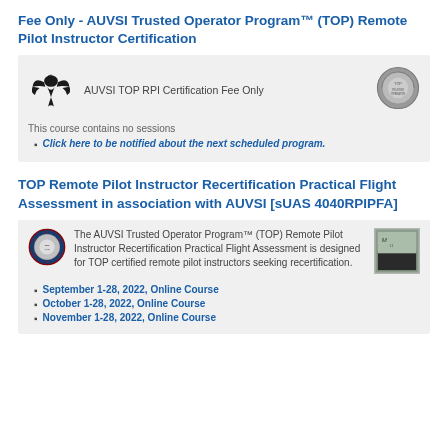Fee Only - AUVSI Trusted Operator Program™ (TOP) Remote Pilot Instructor Certification
[Figure (logo): AUVSI eagle logo (black)]
AUVSI TOP RPI Certification Fee Only
[Figure (logo): AUVSI TOP circular badge/seal logo (grey)]
This course contains no sessions
Click here to be notified about the next scheduled program.
TOP Remote Pilot Instructor Recertification Practical Flight Assessment in association with AUVSI [sUAS 4040RPIPFA]
[Figure (logo): AUVSI TOP circular badge/seal logo (red/white/blue stars)]
The AUVSI Trusted Operator Program™ (TOP) Remote Pilot Instructor Recertification Practical Flight Assessment is designed for TOP certified remote pilot instructors seeking recertification.
[Figure (photo): Small photograph, appears to show aerial/outdoor scene with text markings]
September 1-28, 2022, Online Course
October 1-28, 2022, Online Course
November 1-28, 2022, Online Course